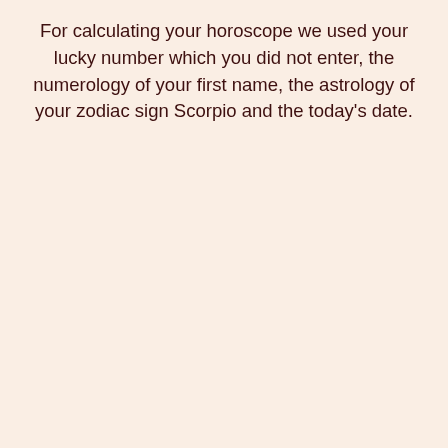For calculating your horoscope we used your lucky number which you did not enter, the numerology of your first name, the astrology of your zodiac sign Scorpio and the today's date.